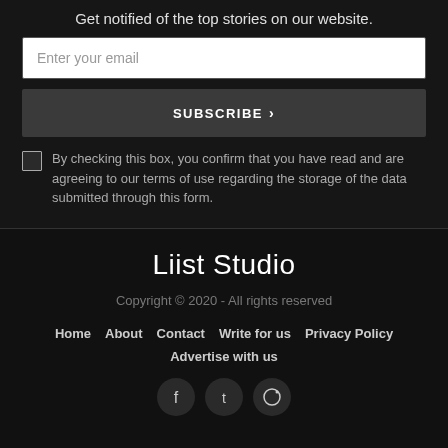Get notified of the top stories on our website.
Enter your email
SUBSCRIBE ›
By checking this box, you confirm that you have read and are agreeing to our terms of use regarding the storage of the data submitted through this form.
Liist Studio
Copyright © 2020 - All rights reserved
Home
About
Contact
Write for us
Privacy Policy
Advertise with us
[Figure (illustration): Three social media icons (Facebook, Twitter/X, Instagram) as dark circular buttons at the bottom of the page.]